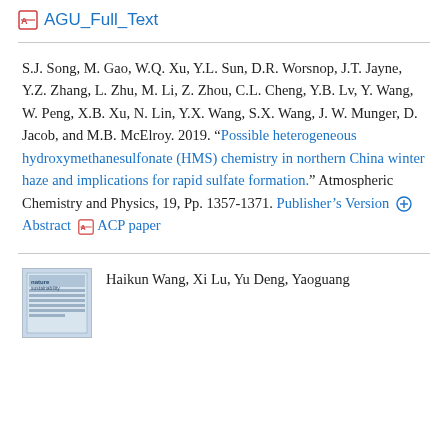AGU_Full_Text
S.J. Song, M. Gao, W.Q. Xu, Y.L. Sun, D.R. Worsnop, J.T. Jayne, Y.Z. Zhang, L. Zhu, M. Li, Z. Zhou, C.L. Cheng, Y.B. Lv, Y. Wang, W. Peng, X.B. Xu, N. Lin, Y.X. Wang, S.X. Wang, J. W. Munger, D. Jacob, and M.B. McElroy. 2019. “Possible heterogeneous hydroxymethanesulfonate (HMS) chemistry in northern China winter haze and implications for rapid sulfate formation.” Atmospheric Chemistry and Physics, 19, Pp. 1357-1371. Publisher's Version ⊕Abstract � ACP paper
Haikun Wang, Xi Lu, Yu Deng, Yaoguang